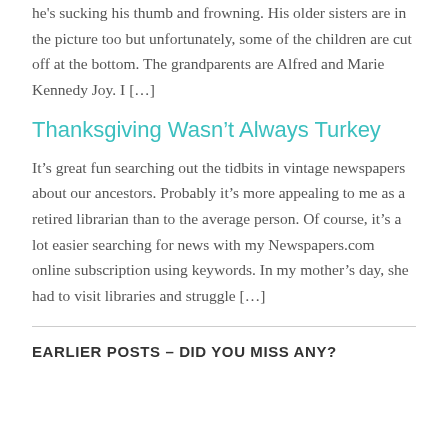he's sucking his thumb and frowning. His older sisters are in the picture too but unfortunately, some of the children are cut off at the bottom. The grandparents are Alfred and Marie Kennedy Joy. I [...]
Thanksgiving Wasn't Always Turkey
It's great fun searching out the tidbits in vintage newspapers about our ancestors. Probably it's more appealing to me as a retired librarian than to the average person. Of course, it's a lot easier searching for news with my Newspapers.com online subscription using keywords. In my mother's day, she had to visit libraries and struggle [...]
EARLIER POSTS – DID YOU MISS ANY?